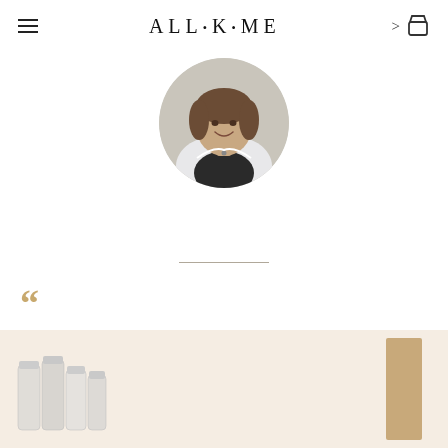ALL·K·ME
[Figure (photo): Circular portrait photo of a smiling woman with short brown hair wearing a white lab coat and dark necklace]
[Figure (other): Opening large quotation mark in gold/tan color]
[Figure (other): Closing large quotation mark in gold/tan color]
[Figure (photo): Product image showing skincare containers/tubes in lower left corner on beige background]
[Figure (photo): Tall tan/beige product box or container on right side of beige section]